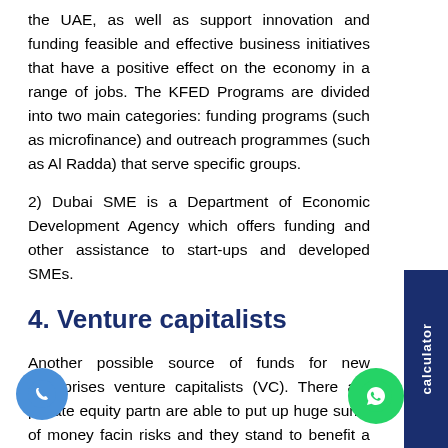the UAE, as well as support innovation and funding feasible and effective business initiatives that have a positive effect on the economy in a range of jobs. The KFED Programs are divided into two main categories: funding programs (such as microfinance) and outreach programmes (such as Al Radda) that serve specific groups.
2) Dubai SME is a Department of Economic Development Agency which offers funding and other assistance to start-ups and developed SMEs.
4. Venture capitalists
Another possible source of funds for new enterprises venture capitalists (VC). There are private equity partn are able to put up huge sums of money facin risks and they stand to benefit a lot if the firms they b